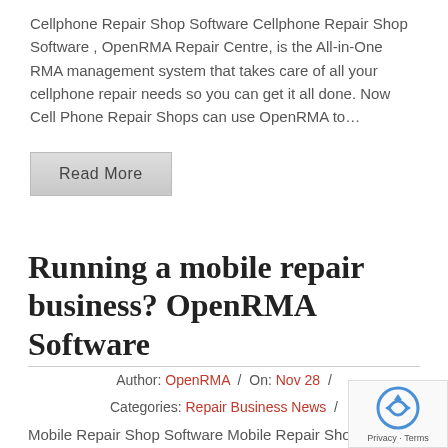Cellphone Repair Shop Software Cellphone Repair Shop Software , OpenRMA Repair Centre, is the All-in-One RMA management system that takes care of all your cellphone repair needs so you can get it all done. Now Cell Phone Repair Shops can use OpenRMA to...
Read More
Running a mobile repair business? OpenRMA Software
Author: OpenRMA / On: Nov 28 / Categories: Repair Business News /
Mobile Repair Shop Software Mobile Repair Shop Softwar...